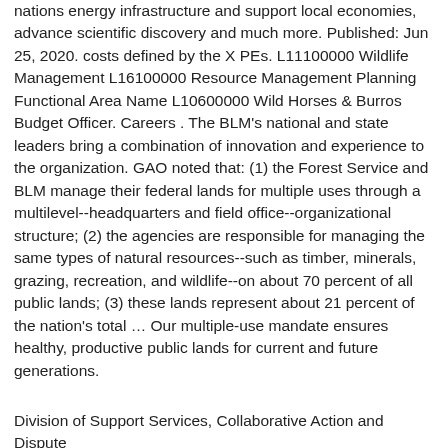nations energy infrastructure and support local economies, advance scientific discovery and much more. Published: Jun 25, 2020. costs defined by the X PEs. L11100000 Wildlife Management L16100000 Resource Management Planning Functional Area Name L10600000 Wild Horses & Burros Budget Officer. Careers . The BLM's national and state leaders bring a combination of innovation and experience to the organization. GAO noted that: (1) the Forest Service and BLM manage their federal lands for multiple uses through a multilevel--headquarters and field office--organizational structure; (2) the agencies are responsible for managing the same types of natural resources--such as timber, minerals, grazing, recreation, and wildlife--on about 70 percent of all public lands; (3) these lands represent about 21 percent of the nation's total … Our multiple-use mandate ensures healthy, productive public lands for current and future generations.
Division of Support Services, Collaborative Action and Dispute